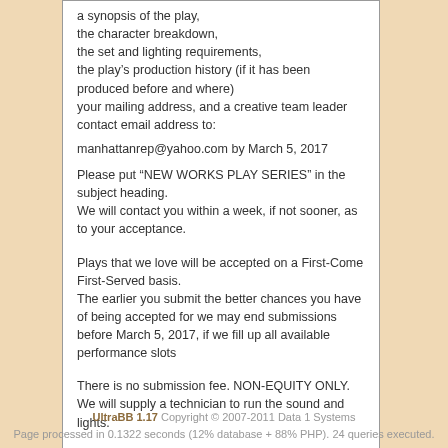a synopsis of the play, the character breakdown, the set and lighting requirements, the play's production history (if it has been produced before and where) your mailing address, and a creative team leader contact email address to:
manhattanrep@yahoo.com by March 5, 2017
Please put “NEW WORKS PLAY SERIES” in the subject heading. We will contact you within a week, if not sooner, as to your acceptance.
Plays that we love will be accepted on a First-Come First-Served basis. The earlier you submit the better chances you have of being accepted for we may end submissions before March 5, 2017, if we fill up all available performance slots
There is no submission fee. NON-EQUITY ONLY. We will supply a technician to run the sound and lights.
Once accepted, there will be a $35 commitment fee.
http://manhattanrep.com/
UltraBB 1.17 Copyright © 2007-2011 Data 1 Systems
Page processed in 0.1322 seconds (12% database + 88% PHP). 24 queries executed.